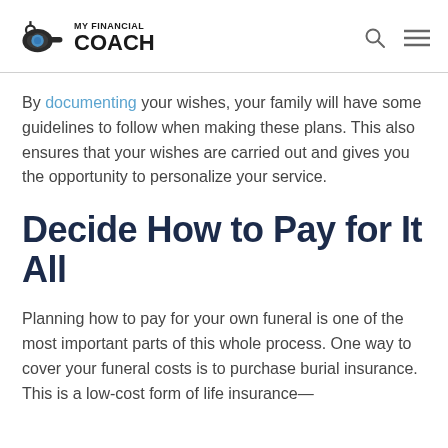MY FINANCIAL COACH
By documenting your wishes, your family will have some guidelines to follow when making these plans. This also ensures that your wishes are carried out and gives you the opportunity to personalize your service.
Decide How to Pay for It All
Planning how to pay for your own funeral is one of the most important parts of this whole process. One way to cover your funeral costs is to purchase burial insurance. This is a low-cost form of life insurance—